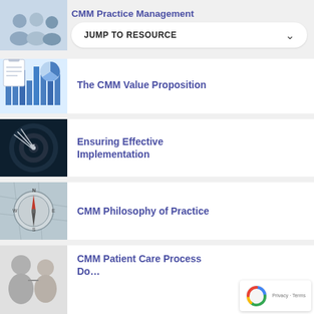[Figure (photo): People in a hallway, CMM Practice Management resource thumbnail]
CMM Practice Management
JUMP TO RESOURCE
[Figure (photo): Charts and graphs on paper, The CMM Value Proposition thumbnail]
The CMM Value Proposition
[Figure (photo): Darts in a dartboard, Ensuring Effective Implementation thumbnail]
Ensuring Effective Implementation
[Figure (photo): Compass on map, CMM Philosophy of Practice thumbnail]
CMM Philosophy of Practice
[Figure (photo): Elderly patient with healthcare provider, CMM Patient Care Process Document thumbnail]
CMM Patient Care Process Document